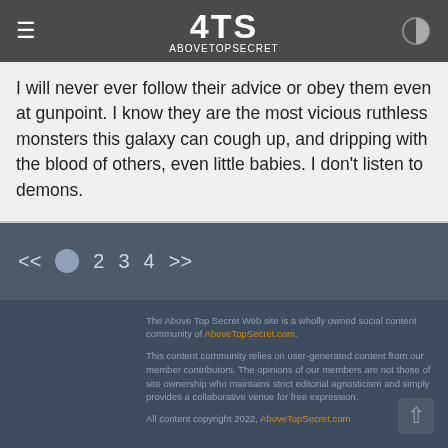ATS AboveTopSecret
I will never ever follow their advice or obey them even at gunpoint. I know they are the most vicious ruthless monsters this galaxy can cough up, and dripping with the blood of others, even little babies. I don't listen to demons.
<< 1 2 3 4 >>
The Above Top Secret Web site is a wholly owned social content community of AboveTopSecret.com. This content community relies on user-generated content from our member contributors. The opinions of our members are not those of site ownership who maintains strict editorial agnosticism and simply provides a collaborative venue for free expression. All content copyright 2022, AboveTopSecret.com